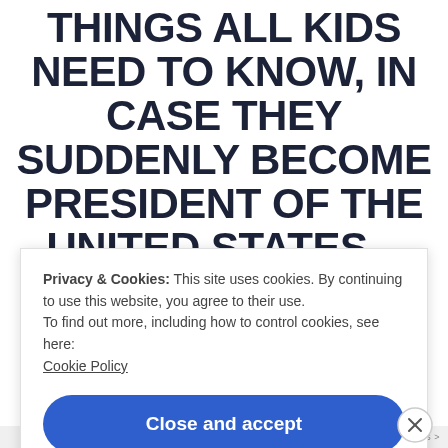THINGS ALL KIDS NEED TO KNOW, IN CASE THEY SUDDENLY BECOME PRESIDENT OF THE UNITED STATES – VIA THE ZOLTAR FORTUNE TELLER MACHINE:
Privacy & Cookies: This site uses cookies. By continuing to use this website, you agree to their use. To find out more, including how to control cookies, see here: Cookie Policy
Close and accept